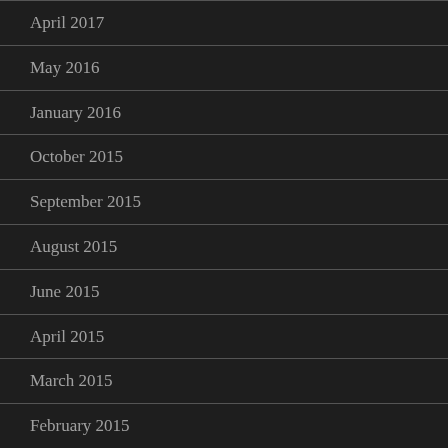April 2017
May 2016
January 2016
October 2015
September 2015
August 2015
June 2015
April 2015
March 2015
February 2015
January 2015